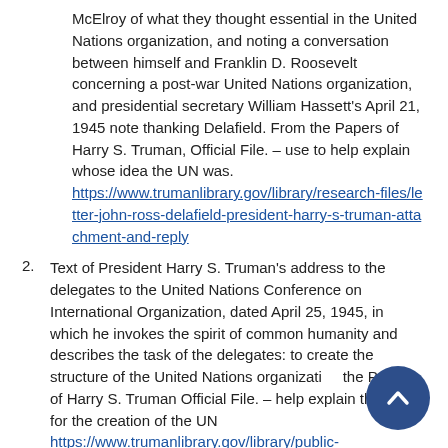McElroy of what they thought essential in the United Nations organization, and noting a conversation between himself and Franklin D. Roosevelt concerning a post-war United Nations organization, and presidential secretary William Hassett's April 21, 1945 note thanking Delafield. From the Papers of Harry S. Truman, Official File. – use to help explain whose idea the UN was. https://www.trumanlibrary.gov/library/research-files/letter-john-ross-delafield-president-harry-s-truman-attachment-and-reply
2. Text of President Harry S. Truman's address to the delegates to the United Nations Conference on International Organization, dated April 25, 1945, in which he invokes the spirit of common humanity and describes the task of the delegates: to create the structure of the United Nations organization… the Papers of Harry S. Truman Official File. – help explain the need for the creation of the UN https://www.trumanlibrary.gov/library/public-